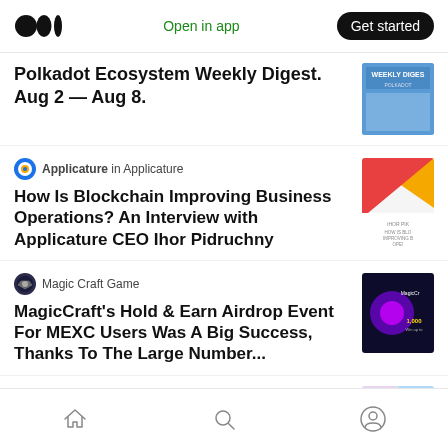Medium app header with logo, Open in app link, and Get started button
Polkadot Ecosystem Weekly Digest. Aug 2 — Aug 8.
Applicature in Applicature
How Is Blockchain Improving Business Operations? An Interview with Applicature CEO Ihor Pidruchny
Magic Craft Game
MagicCraft's Hold & Earn Airdrop Event For MEXC Users Was A Big Success, Thanks To The Large Number...
Danil Samov
Home Search Profile navigation tabs